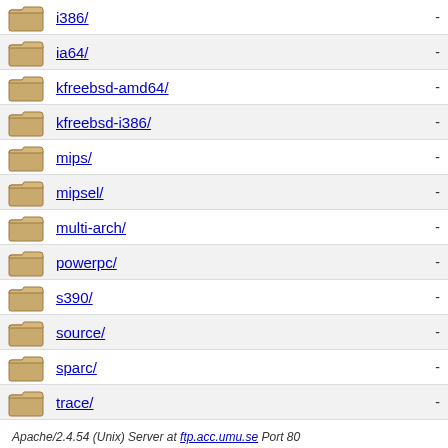i386/
ia64/
kfreebsd-amd64/
kfreebsd-i386/
mips/
mipsel/
multi-arch/
powerpc/
s390/
source/
sparc/
trace/
Apache/2.4.54 (Unix) Server at ftp.acc.umu.se Port 80